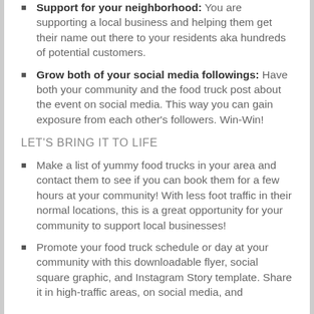Support for your neighborhood: You are supporting a local business and helping them get their name out there to your residents aka hundreds of potential customers.
Grow both of your social media followings: Have both your community and the food truck post about the event on social media. This way you can gain exposure from each other's followers. Win-Win!
LET'S BRING IT TO LIFE
Make a list of yummy food trucks in your area and contact them to see if you can book them for a few hours at your community! With less foot traffic in their normal locations, this is a great opportunity for your community to support local businesses!
Promote your food truck schedule or day at your community with this downloadable flyer, social square graphic, and Instagram Story template. Share it in high-traffic areas, on social media, and